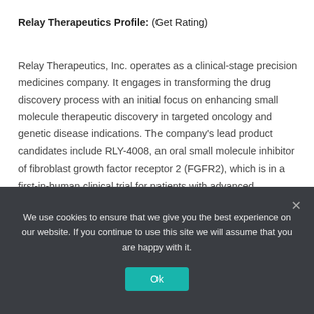Relay Therapeutics Profile: (Get Rating)
Relay Therapeutics, Inc. operates as a clinical-stage precision medicines company. It engages in transforming the drug discovery process with an initial focus on enhancing small molecule therapeutic discovery in targeted oncology and genetic disease indications. The company's lead product candidates include RLY-4008, an oral small molecule inhibitor of fibroblast growth factor receptor 2 (FGFR2), which is in a first-in-human clinical trial for patients with advanced
We use cookies to ensure that we give you the best experience on our website. If you continue to use this site we will assume that you are happy with it.